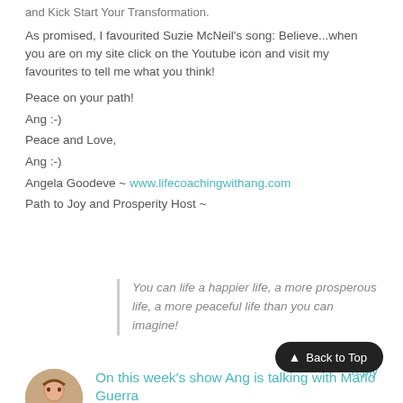and Kick Start Your Transformation.
As promised, I favourited Suzie McNeil's song: Believe...when you are on my site click on the Youtube icon and visit my favourites to tell me what you think!
Peace on your path!
Ang :-)
Peace and Love,
Ang :-)
Angela Goodeve ~ www.lifecoachingwithang.com
Path to Joy and Prosperity Host ~
You can life a happier life, a more prosperous life, a more peaceful life than you can imagine!
reply
Back to Top
On this week's show Ang is talking with Mario Guerra
Submitted by Angela Goodeve on Mon, 09/09/2013 - 13:07